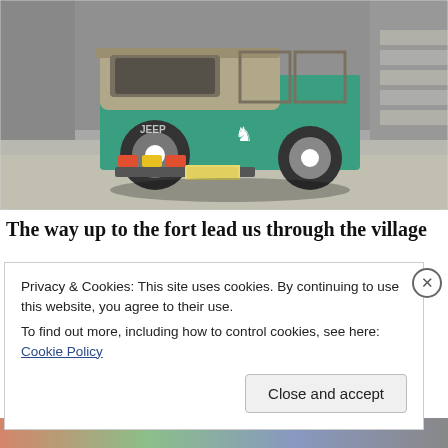[Figure (photo): A teal/green vintage Jeep photographed from the rear-right angle, parked on a stone/concrete surface. The jeep has a canvas soft top, white wheels, yellow/red tail lights, and a license plate. Background shows a stone wall and stairs.]
The way up to the fort lead us through the village
Privacy & Cookies: This site uses cookies. By continuing to use this website, you agree to their use.
To find out more, including how to control cookies, see here: Cookie Policy
Close and accept